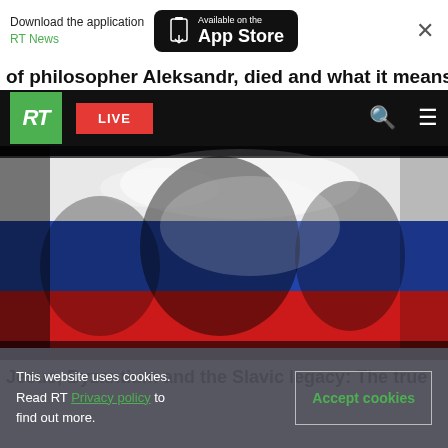Download the application RT News — Available on the App Store
of philosopher Aleksandr, died and what it means
[Figure (photo): RT News website navigation bar with green RT logo, red LIVE button, search and hamburger menu icons on black background]
[Figure (photo): Close-up photograph of a large Russian tricolor flag (white, blue, red stripes) with silhouettes of people visible behind it]
Jesus, Byzantium and the Slavic legacy: The true
This website uses cookies. Read RT Privacy policy to find out more.
Accept cookies